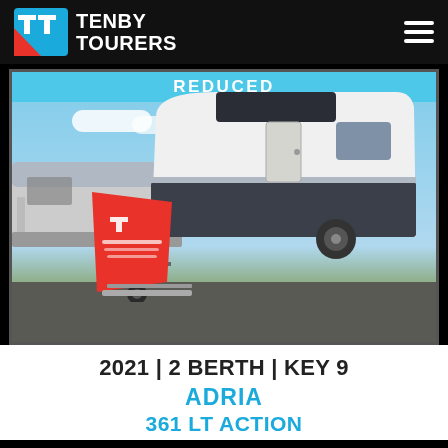TENBY TOURERS
[Figure (photo): Photo of an Adria 361 LT Action caravan parked at a dealer lot, with a red Tenby Tourers hitch cover in front. A 'REDUCED' banner appears at the top of the image.]
2021 | 2 BERTH | KEY 9
ADRIA
361 LT ACTION